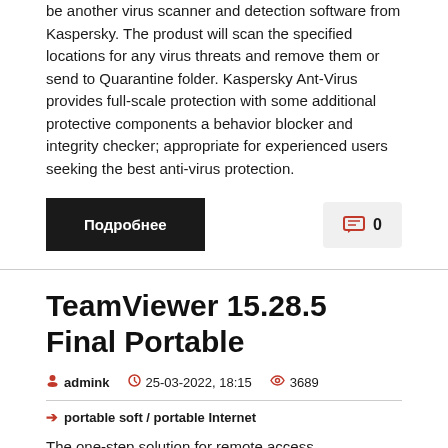be another virus scanner and detection software from Kaspersky. The produst will scan the specified locations for any virus threats and remove them or send to Quarantine folder. Kaspersky Ant-Virus provides full-scale protection with some additional protective components a behavior blocker and integrity checker; appropriate for experienced users seeking the best anti-virus protection.
Подробнее
0
TeamViewer 15.28.5 Final Portable
admink  25-03-2022, 18:15  3689
portable soft / portable Internet
The one-step solution for remote access. TeamViewer is the fast, simple and friendly solution for remote access over the Internet -